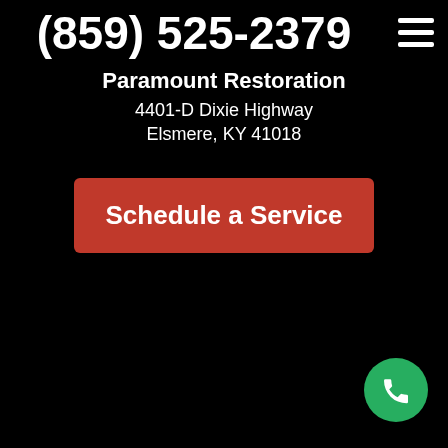(859) 525-2379
Paramount Restoration
4401-D Dixie Highway
Elsmere, KY 41018
Schedule a Service
[Figure (illustration): Green circular call/phone button in bottom right corner]
[Figure (illustration): Hamburger menu icon (three horizontal lines) in top right corner]